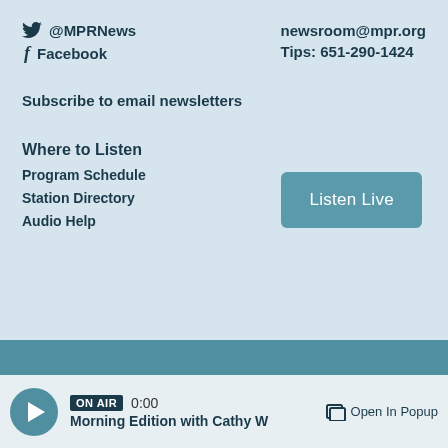@MPRNews
newsroom@mpr.org
Facebook
Tips: 651-290-1424
Subscribe to email newsletters
Where to Listen
Program Schedule
Station Directory
Audio Help
Listen Live
ON AIR  0:00  Morning Edition with Cathy W  Open In Popup